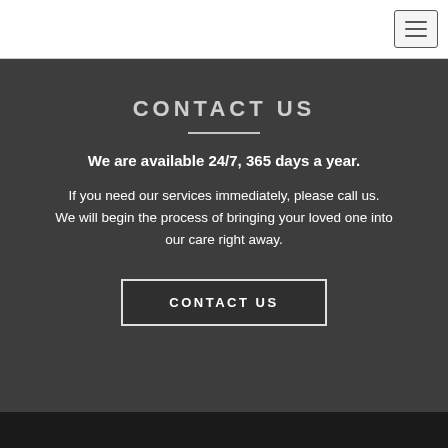CONTACT US
We are available 24/7, 365 days a year.
If you need our services immediately, please call us. We will begin the process of bringing your loved one into our care right away.
CONTACT US